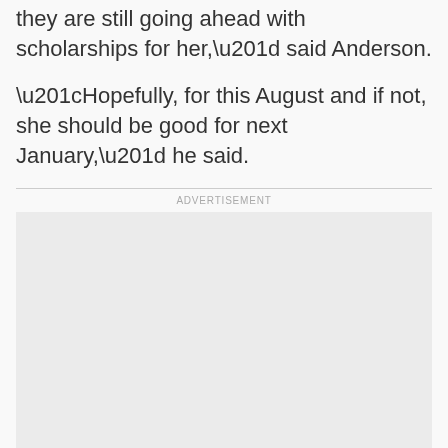they are still going ahead with scholarships for her,” said Anderson.
“Hopefully, for this August and if not, she should be good for next January,” he said.
ADVERTISEMENT
[Figure (other): Advertisement placeholder box with light gray background]